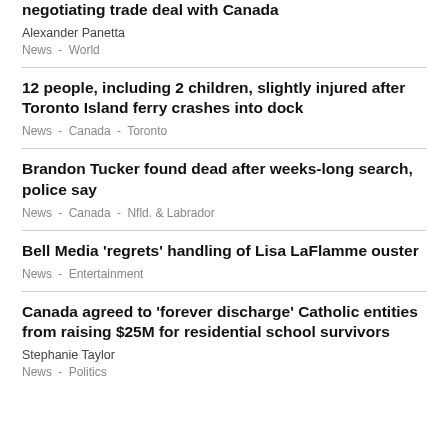negotiating trade deal with Canada
Alexander Panetta
News  -  World
12 people, including 2 children, slightly injured after Toronto Island ferry crashes into dock
News  -  Canada  -  Toronto
Brandon Tucker found dead after weeks-long search, police say
News  -  Canada  -  Nfld. & Labrador
Bell Media 'regrets' handling of Lisa LaFlamme ouster
News  -  Entertainment
Canada agreed to 'forever discharge' Catholic entities from raising $25M for residential school survivors
Stephanie Taylor
News  -  Politics